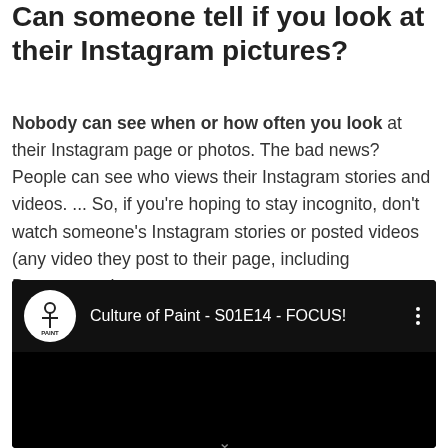Can someone tell if you look at their Instagram pictures?
Nobody can see when or how often you look at their Instagram page or photos. The bad news? People can see who views their Instagram stories and videos. ... So, if you're hoping to stay incognito, don't watch someone's Instagram stories or posted videos (any video they post to their page, including Boomerangs).
[Figure (screenshot): YouTube-style video player showing 'Culture of Paint - S01E14 - FOCUS!' with channel logo, video title, three-dot menu icon, and black video area with chevron at the bottom.]